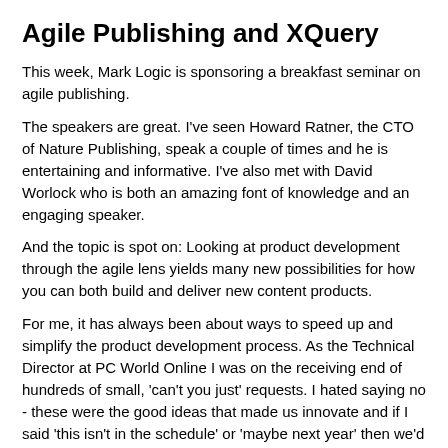Agile Publishing and XQuery
This week, Mark Logic is sponsoring a breakfast seminar on agile publishing.
The speakers are great.  I've seen Howard Ratner, the CTO of Nature Publishing, speak a couple of times and he is entertaining and informative.  I've also met with David Worlock who is both an amazing font of knowledge and an engaging speaker.
And the topic is spot on:  Looking at product development through the agile lens yields many new possibilities for how you can both build and deliver new content products.
For me, it has always been about ways to speed up and simplify the product development process.  As the Technical Director at PC World Online I was on the receiving end of hundreds of small, 'can't you just' requests.  I hated saying no - these were the good ideas that made us innovate and if I said 'this isn't in the schedule' or 'maybe next year' then we'd get nowhere.  And in 1997 at the start of web publishing we had a LOT of ground to cover!
So we did a lot of small projects, we launched things in days rather than months and we made the most of our tools, pushing XML into databases the best we could and using Tcl (!!) and Vignette as a basic framework